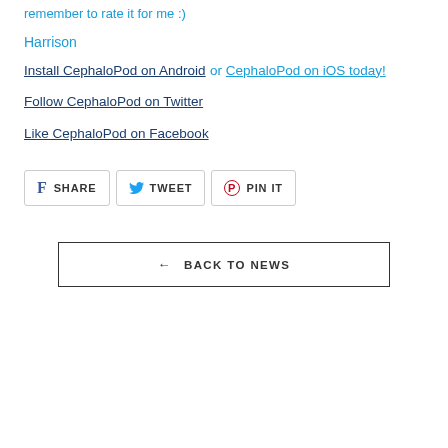remember to rate it for me :)
Harrison
Install CephaloPod on Android or CephaloPod on iOS today!
Follow CephaloPod on Twitter
Like CephaloPod on Facebook
[Figure (other): Social sharing buttons: SHARE (Facebook), TWEET (Twitter), PIN IT (Pinterest)]
← BACK TO NEWS